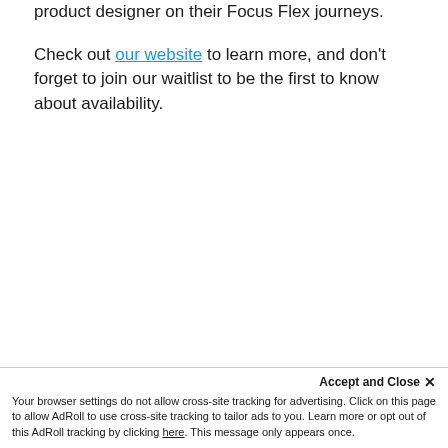product designer on their Focus Flex journeys.
Check out our website to learn more, and don't forget to join our waitlist to be the first to know about availability.
Accept and Close ×
Your browser settings do not allow cross-site tracking for advertising. Click on this page to allow AdRoll to use cross-site tracking to tailor ads to you. Learn more or opt out of this AdRoll tracking by clicking here. This message only appears once.